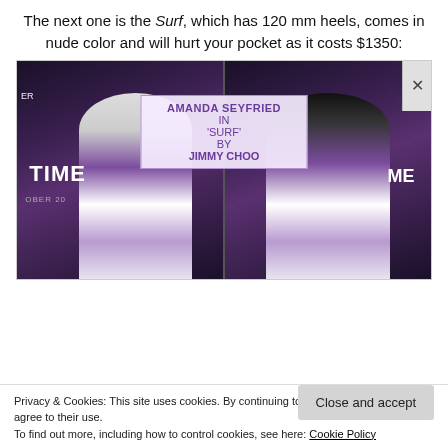The next one is the Surf, which has 120 mm heels, comes in nude color and will hurt your pocket as it costs $1350:
[Figure (photo): Two side-by-side photos of Amanda Seyfried wearing a purple floral dress at a red carpet event. A label overlay reads: AMANDA SEYFRIED IN 'SURF' BY JIMMY CHOO. Left photo shows her from behind/side, right photo shows her from the side/back.]
Privacy & Cookies: This site uses cookies. By continuing to use this website, you agree to their use.
To find out more, including how to control cookies, see here: Cookie Policy
Close and accept